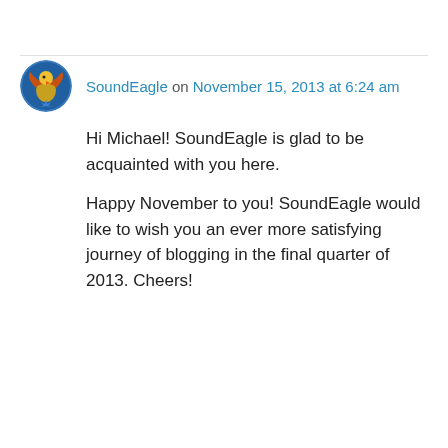SoundEagle on November 15, 2013 at 6:24 am
Hi Michael! SoundEagle is glad to be acquainted with you here.
Happy November to you! SoundEagle would like to wish you an ever more satisfying journey of blogging in the final quarter of 2013. Cheers!
Like
Reply
Privacy & Cookies: This site uses cookies. By continuing to use this website, you agree to their use.
To find out more, including how to control cookies, see here: Cookie Policy
Close and accept